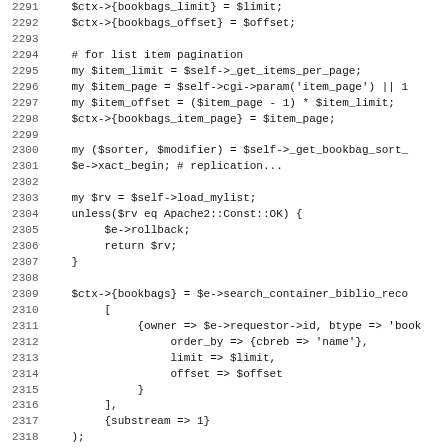[Figure (screenshot): Source code listing in monospace font showing Perl code lines 2291-2322, with line numbers on the left and code on the right. The code includes variable assignments, pagination logic, database queries, and conditional checks.]